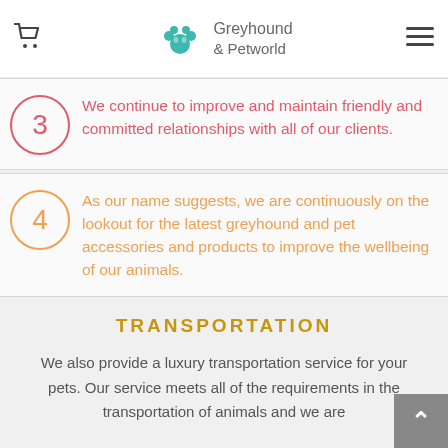Greyhound & Petworld
3 We continue to improve and maintain friendly and committed relationships with all of our clients.
4 As our name suggests, we are continuously on the lookout for the latest greyhound and pet accessories and products to improve the wellbeing of our animals.
TRANSPORTATION
We also provide a luxury transportation service for your pets. Our service meets all of the requirements in the transportation of animals and we are